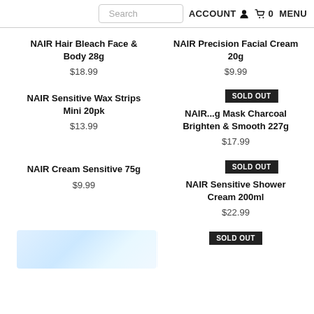Search | ACCOUNT | 🛒 0 | MENU
NAIR Hair Bleach Face & Body 28g
$18.99
NAIR Precision Facial Cream 20g
$9.99
NAIR Sensitive Wax Strips Mini 20pk
$13.99
SOLD OUT
NAIR ...g Mask Charcoal Brighten & Smooth 227g
$17.99
NAIR Cream Sensitive 75g
$9.99
SOLD OUT
NAIR Sensitive Shower Cream 200ml
$22.99
SOLD OUT
[Figure (photo): Partial product image at bottom left]